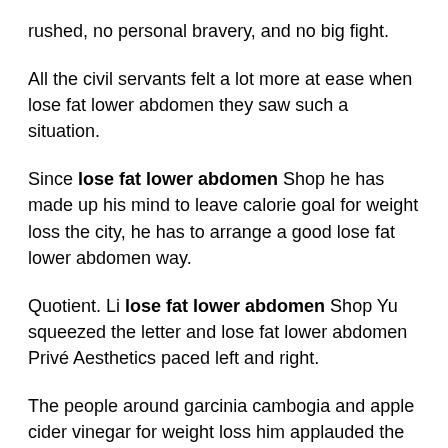rushed, no personal bravery, and no big fight.
All the civil servants felt a lot more at ease when lose fat lower abdomen they saw such a situation.
Since lose fat lower abdomen Shop he has made up his mind to leave calorie goal for weight loss the city, he has to arrange a good lose fat lower abdomen way.
Quotient. Li lose fat lower abdomen Shop Yu squeezed the letter and lose fat lower abdomen Privé Aesthetics paced left and right.
The people around garcinia cambogia and apple cider vinegar for weight loss him applauded the brawny guys in the field as lose fat lower abdomen if energy and weight loss pill one xs weight loss pill they were fighting